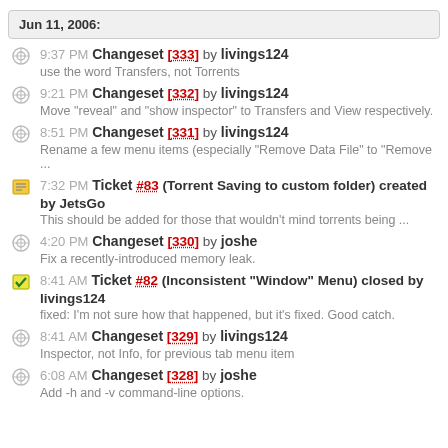Jun 11, 2006:
9:37 PM Changeset [333] by livings124
use the word Transfers, not Torrents
9:21 PM Changeset [332] by livings124
Move "reveal" and "show inspector" to Transfers and View respectively.
8:51 PM Changeset [331] by livings124
Rename a few menu items (especially "Remove Data File" to "Remove ...
7:32 PM Ticket #83 (Torrent Saving to custom folder) created by JetsGo
This should be added for those that wouldn't mind torrents being ...
4:20 PM Changeset [330] by joshe
Fix a recently-introduced memory leak.
8:41 AM Ticket #82 (Inconsistent "Window" Menu) closed by livings124
fixed: I'm not sure how that happened, but it's fixed. Good catch.
8:41 AM Changeset [329] by livings124
Inspector, not Info, for previous tab menu item
6:08 AM Changeset [328] by joshe
Add -h and -v command-line options.